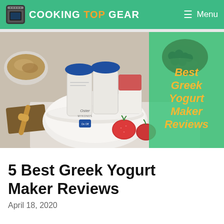COOKING TOP GEAR   Menu
[Figure (photo): Hero image of a yogurt maker appliance with blue-lidded jars, strawberries, granola bowl, and honey tray on a white surface, with a green overlay panel on the right side reading 'Best Greek Yogurt Maker Reviews' in gold italic text]
5 Best Greek Yogurt Maker Reviews
April 18, 2020